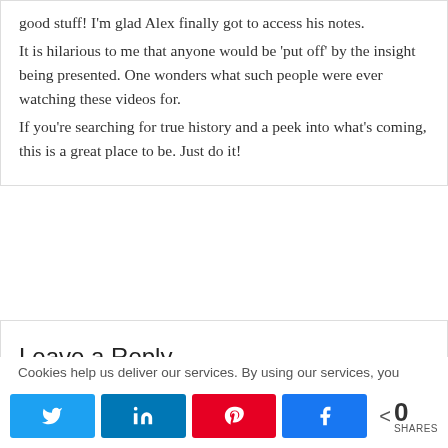good stuff! I'm glad Alex finally got to access his notes. It is hilarious to me that anyone would be 'put off' by the insight being presented. One wonders what such people were ever watching these videos for. If you're searching for true history and a peek into what's coming, this is a great place to be. Just do it!
Leave a Reply
Cookies help us deliver our services. By using our services, you
0 SHARES